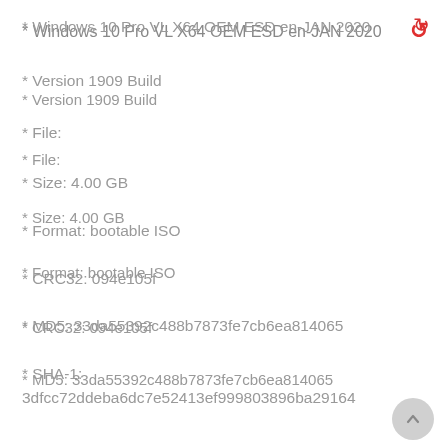* Windows 10 Pro VL X64 OEM ESD en-JAN 2020
* Version 1909 Build
* File:
* Size: 4.00 GB
* Format: bootable ISO
* CRC32: 094e105f
* MD5: 33da55392c488b7873fe7cb6ea814065
* SHA-1: 3dfcc72ddeba6dc7e52413ef999803896ba29164
*
Previously integrated / installed: